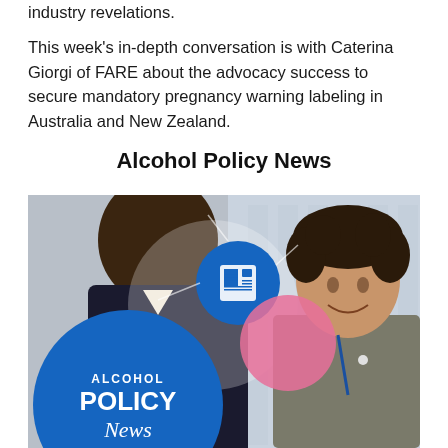industry revelations.
This week's in-depth conversation is with Caterina Giorgi of FARE about the advocacy success to secure mandatory pregnancy warning labeling in Australia and New Zealand.
Alcohol Policy News
[Figure (photo): Photo of two people at a conference/professional setting. A blue circular badge with a newspaper icon is overlaid, along with a pink circle. A large blue circle in the bottom-left contains the text 'ALCOHOL POLICY News' as a logo/brand graphic.]